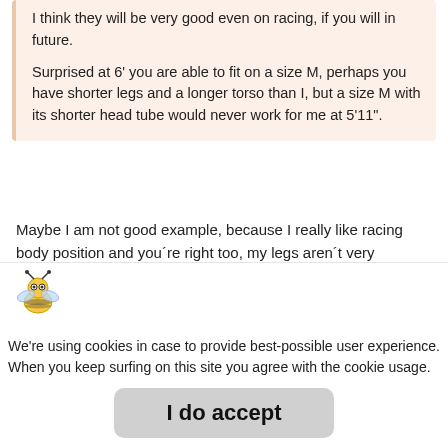I think they will be very good even on racing, if you will in future.

Surprised at 6' you are able to fit on a size M, perhaps you have shorter legs and a longer torso than I, but a size M with its shorter head tube would never work for me at 5'11".
Maybe I am not good example, because I really like racing body position and you´re right too, my legs aren´t very long(33.5´´ inseam). I think M/L would fit me too, but with higher stack and I´d have to cut seatpost more too.
[Figure (illustration): Cartoon bee avatar icon]
We're using cookies in case to provide best-possible user experience. When you keep surfing on this site you agree with the cookie usage.
I do accept
Visit star... ng components